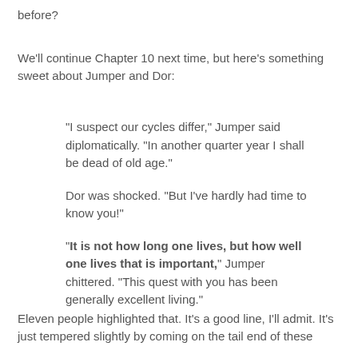before?
We'll continue Chapter 10 next time, but here's something sweet about Jumper and Dor:
“I suspect our cycles differ,” Jumper said diplomatically. “In another quarter year I shall be dead of old age.”
Dor was shocked. “But I’ve hardly had time to know you!”
“It is not how long one lives, but how well one lives that is important,” Jumper chittered. “This quest with you has been generally excellent living.”
Eleven people highlighted that. It’s a good line, I’ll admit. It’s just tempered slightly by coming on the tail end of these